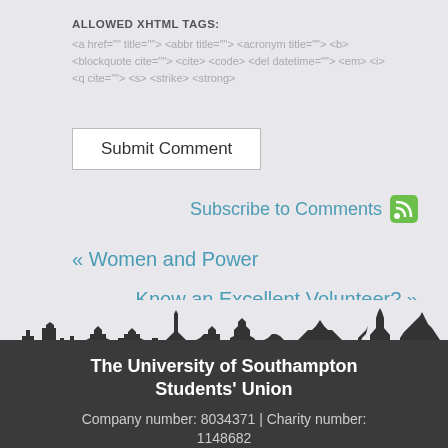ALLOWED XHTML TAGS:
<a href="" title=""> <abbr title=""> <acronym title=""> <b> <blockquote cite=""> <cite> <code> <del datetime=""> <em> <i> <q cite=""> <s> <strike> <strong>
Submit Comment
Subscribe to Comments
« Women and Power
Know an Excellent Volunteer? »
[Figure (illustration): Silhouette skyline of Southampton city showing buildings, cranes, church spires, and trees in dark gray/black against a light background]
The University of Southampton Students' Union
Company number: 8034371 | Charity number: 1148682